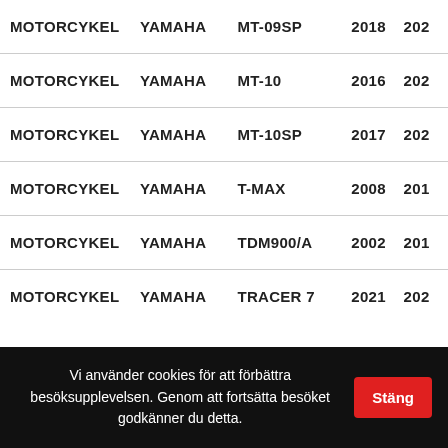| TYPE | BRAND | MODEL | FROM | TO |
| --- | --- | --- | --- | --- |
| MOTORCYKEL | YAMAHA | MT-09SP | 2018 | 202 |
| MOTORCYKEL | YAMAHA | MT-10 | 2016 | 202 |
| MOTORCYKEL | YAMAHA | MT-10SP | 2017 | 202 |
| MOTORCYKEL | YAMAHA | T-MAX | 2008 | 201 |
| MOTORCYKEL | YAMAHA | TDM900/A | 2002 | 201 |
| MOTORCYKEL | YAMAHA | TRACER 7 | 2021 | 202 |
| MOTORCYKEL | YAMAHA | TRACER 7 GT | 2021 | 202 |
Vi använder cookies för att förbättra besöksupplevelsen. Genom att fortsätta besöket godkänner du detta.